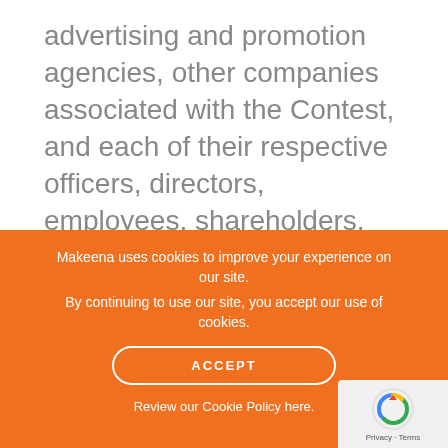advertising and promotion agencies, other companies associated with the Contest, and each of their respective officers, directors, employees, shareholders, representatives, and agents (the “Released Parties”) from and against any claim or cause of action arising out of participation in the Contest or receipt or use of the prize (including any travel or activity related thereto), including, but not limited to: (a) any technical errors associated with
Makeena uses cookies to improve your experience on our site.
By continuing to use our site, you accept our use of cookies.
ACCEPT
Review our Cookie Policy here.